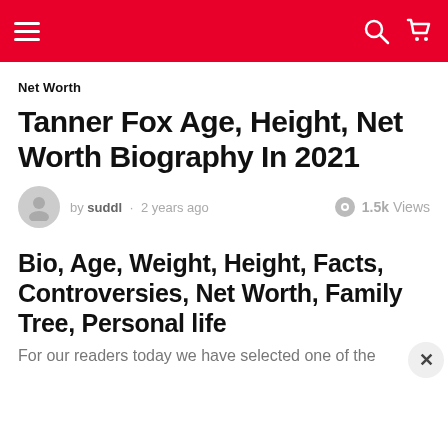Navigation header with hamburger menu, search icon, and cart icon
Net Worth
Tanner Fox Age, Height, Net Worth Biography In 2021
by suddl · 2 years ago · 1.5k Views
Bio, Age, Weight, Height, Facts, Controversies, Net Worth, Family Tree, Personal life
For our readers today we have selected one of the